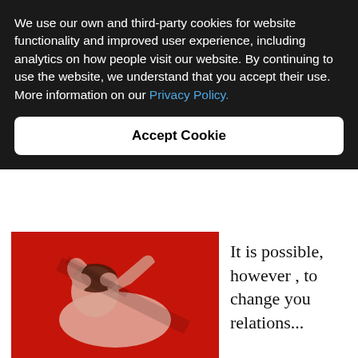We use our own and third-party cookies for website functionality and improved user experience, including analytics on how people visit our website. By continuing to use the website, we understand that you accept their use. More information on our Privacy Policy.
Accept Cookie
[Figure (photo): A person lying on a red background with hands raised to their head in a distressed pose, the image is blurry/motion-blurred.]
It is possible, however , to change you relations...